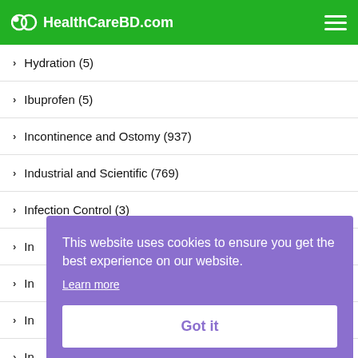HealthCareBD.com
Hydration (5)
Ibuprofen (5)
Incontinence and Ostomy (937)
Industrial and Scientific (769)
Infection Control (3)
In...
In...
In...
In...
Insulin Injectors (93)
This website uses cookies to ensure you get the best experience on our website. Learn more Got it